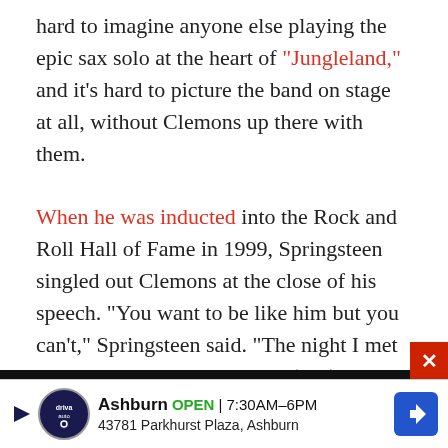hard to imagine anyone else playing the epic sax solo at the heart of "Jungleland," and it's hard to picture the band on stage at all, without Clemons up there with them.

When he was inducted into the Rock and Roll Hall of Fame in 1999, Springsteen singled out Clemons at the close of his speech. "You want to be like him but you can't," Springsteen said. "The night I met Clarence, he got up on stage (and) a sound came out of his horn that seemed to rattle the glasses behind the bar, and threatened to blow out the back wall. ... But there was something else, something that happened when we stood side by side. Some energy, some unspoken
[Figure (other): Advertisement banner at bottom: Driva Auto shop in Ashburn, OPEN 7:30AM-6PM, 43781 Parkhurst Plaza, Ashburn, with navigation icon]